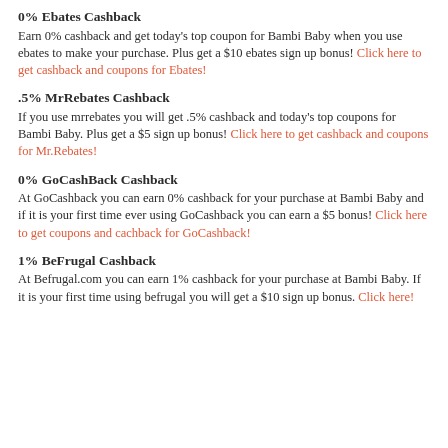0% Ebates Cashback
Earn 0% cashback and get today's top coupon for Bambi Baby when you use ebates to make your purchase. Plus get a $10 ebates sign up bonus! Click here to get cashback and coupons for Ebates!
.5% MrRebates Cashback
If you use mrrebates you will get .5% cashback and today's top coupons for Bambi Baby. Plus get a $5 sign up bonus! Click here to get cashback and coupons for Mr.Rebates!
0% GoCashBack Cashback
At GoCashback you can earn 0% cashback for your purchase at Bambi Baby and if it is your first time ever using GoCashback you can earn a $5 bonus! Click here to get coupons and cachback for GoCashback!
1% BeFrugal Cashback
At Befrugal.com you can earn 1% cashback for your purchase at Bambi Baby. If it is your first time using befrugal you will get a $10 sign up bonus. Click here!